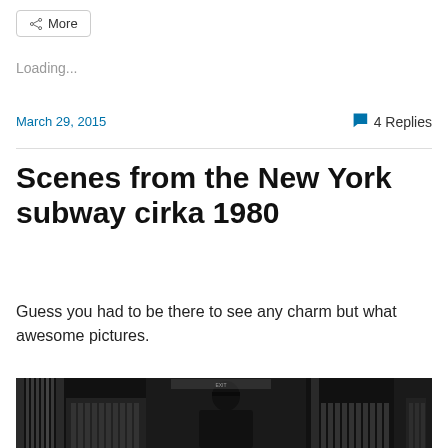More
Loading...
March 29, 2015   4 Replies
Scenes from the New York subway cirka 1980
Guess you had to be there to see any charm but what awesome pictures.
[Figure (photo): Black and white photo of a police officer standing in a New York subway turnstile area, circa 1980]